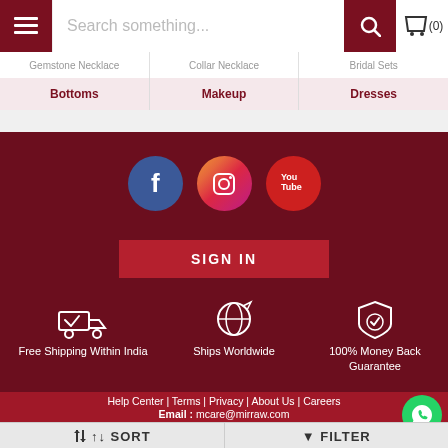Search something... (0)
Gemstone Necklace | Collar Necklace | Bridal Sets
Bottoms | Makeup | Dresses
[Figure (logo): Facebook, Instagram, YouTube social media icons]
SIGN IN
Free Shipping Within India
Ships Worldwide
100% Money Back Guarantee
Help Center | Terms | Privacy | About Us | Careers
Email : mcare@mirraw.com
SORT   FILTER